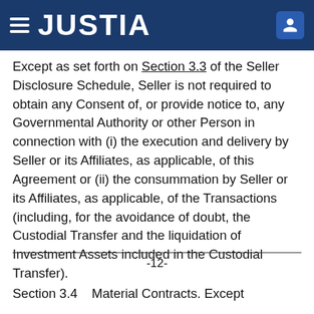JUSTIA
Except as set forth on Section 3.3 of the Seller Disclosure Schedule, Seller is not required to obtain any Consent of, or provide notice to, any Governmental Authority or other Person in connection with (i) the execution and delivery by Seller or its Affiliates, as applicable, of this Agreement or (ii) the consummation by Seller or its Affiliates, as applicable, of the Transactions (including, for the avoidance of doubt, the Custodial Transfer and the liquidation of Investment Assets included in the Custodial Transfer).
-12-
Section 3.4    Material Contracts. Except